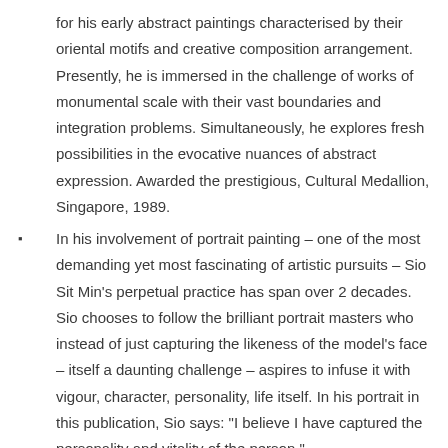for his early abstract paintings characterised by their oriental motifs and creative composition arrangement. Presently, he is immersed in the challenge of works of monumental scale with their vast boundaries and integration problems. Simultaneously, he explores fresh possibilities in the evocative nuances of abstract expression. Awarded the prestigious, Cultural Medallion, Singapore, 1989.
In his involvement of portrait painting – one of the most demanding yet most fascinating of artistic pursuits – Sio Sit Min's perpetual practice has span over 2 decades. Sio chooses to follow the brilliant portrait masters who instead of just capturing the likeness of the model's face – itself a daunting challenge – aspires to infuse it with vigour, character, personality, life itself. In his portrait in this publication, Sio says: "I believe I have captured the personality and vitality of the person."